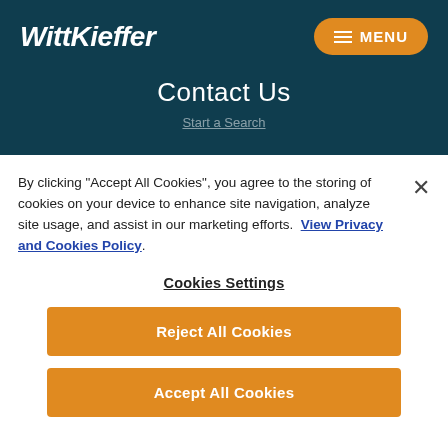WittKieffer
Contact Us
Start a Search
By clicking "Accept All Cookies", you agree to the storing of cookies on your device to enhance site navigation, analyze site usage, and assist in our marketing efforts.  View Privacy and Cookies Policy.
Cookies Settings
Reject All Cookies
Accept All Cookies